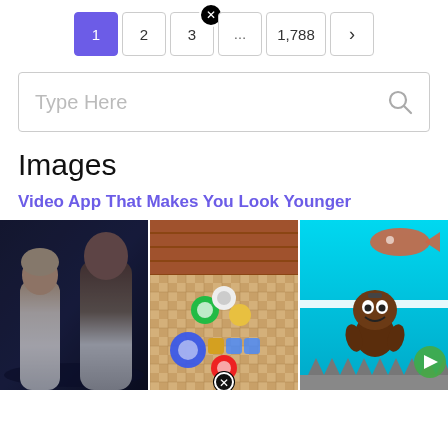[Figure (screenshot): Pagination controls showing pages 1 (active, purple), 2, 3, ..., 1,788, and a next arrow. A close/X badge appears above page 3.]
[Figure (screenshot): Search bar with placeholder text 'Type Here' and a magnifying glass icon on the right.]
Images
Video App That Makes You Look Younger
[Figure (photo): Three images in a horizontal grid: (1) a dark cinematic scene with a woman and man, (2) a top-down mobile game screenshot with cartoon characters on a tile board, (3) a LittleBigPlanet-style game scene with Sackboy character on a blue background with spikes at the bottom.]